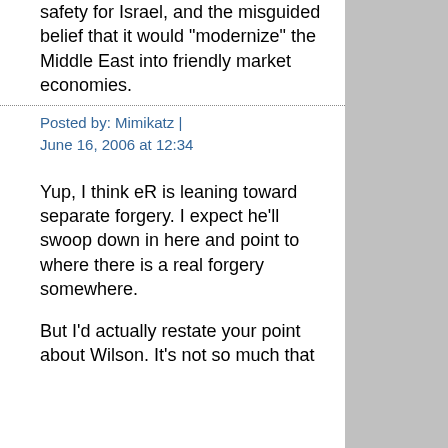safety for Israel, and the misguided belief that it would "modernize" the Middle East into friendly market economies.
Posted by: Mimikatz | June 16, 2006 at 12:34
Yup, I think eR is leaning toward separate forgery. I expect he'll swoop down in here and point to where there is a real forgery somewhere.
But I'd actually restate your point about Wilson. It's not so much that